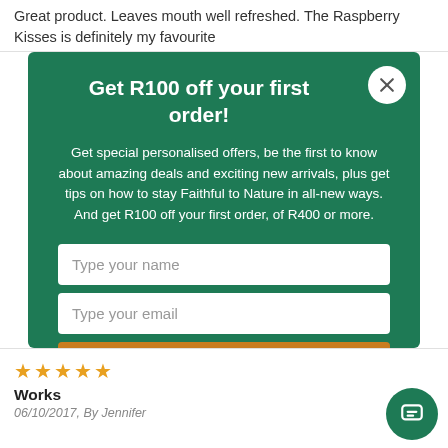Great product. Leaves mouth well refreshed. The Raspberry Kisses is definitely my favourite
Get R100 off your first order!
Get special personalised offers, be the first to know about amazing deals and exciting new arrivals, plus get tips on how to stay Faithful to Nature in all-new ways. And get R100 off your first order, of R400 or more.
Type your name
Type your email
Subscribe to Newsletter
Works
06/10/2017, By Jennifer